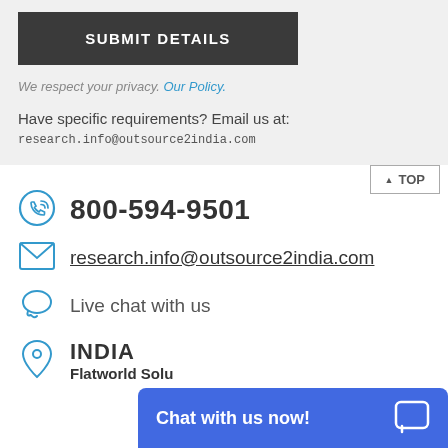[Figure (screenshot): Submit Details button - dark gray button with white bold text]
We respect your privacy. Our Policy.
Have specific requirements? Email us at:
research.info@outsource2india.com
800-594-9501
research.info@outsource2india.com
Live chat with us
INDIA
Flatworld Solu...
Chat with us now!